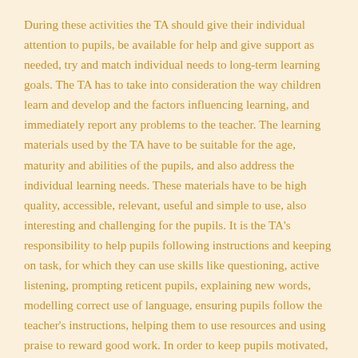During these activities the TA should give their individual attention to pupils, be available for help and give support as needed, try and match individual needs to long-term learning goals. The TA has to take into consideration the way children learn and develop and the factors influencing learning, and immediately report any problems to the teacher. The learning materials used by the TA have to be suitable for the age, maturity and abilities of the pupils, and also address the individual learning needs. These materials have to be high quality, accessible, relevant, useful and simple to use, also interesting and challenging for the pupils. It is the TA's responsibility to help pupils following instructions and keeping on task, for which they can use skills like questioning, active listening, prompting reticent pupils, explaining new words, modelling correct use of language, ensuring pupils follow the teacher's instructions, helping them to use resources and using praise to reward good work. In order to keep pupils motivated, learning support practitioners should also be rewarding